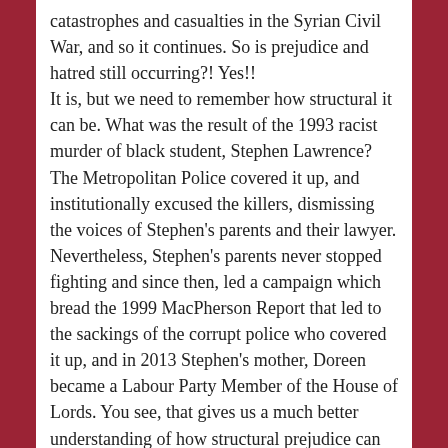catastrophes and casualties in the Syrian Civil War, and so it continues. So is prejudice and hatred still occurring?! Yes!! It is, but we need to remember how structural it can be. What was the result of the 1993 racist murder of black student, Stephen Lawrence? The Metropolitan Police covered it up, and institutionally excused the killers, dismissing the voices of Stephen's parents and their lawyer. Nevertheless, Stephen's parents never stopped fighting and since then, led a campaign which bread the 1999 MacPherson Report that led to the sackings of the corrupt police who covered it up, and in 2013 Stephen's mother, Doreen became a Labour Party Member of the House of Lords. You see, that gives us a much better understanding of how structural prejudice can be and how it still